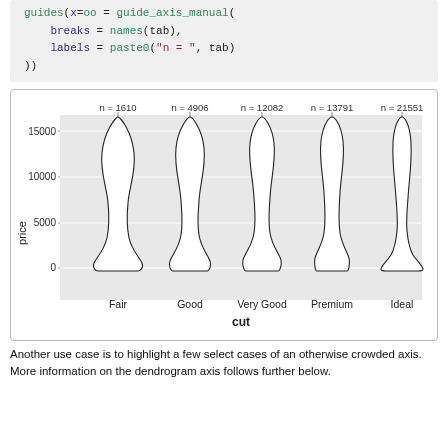guides(x=oo = guide_axis_manual(
    breaks = names(tab),
    labels = paste0("n = ", tab)
  ))
[Figure (continuous-plot): Violin plot showing price distribution by diamond cut category. Five violins for Fair (n=1610), Good (n=4906), Very Good (n=12082), Premium (n=13791), Ideal (n=21551). Y-axis shows price from 0 to ~18000. X-axis label is 'cut'. Y-axis label is 'price'. Gray background with horizontal gridlines at 0, 5000, 10000, 15000.]
Another use case is to highlight a few select cases of an otherwise crowded axis. More information on the dendrogram axis follows further below.